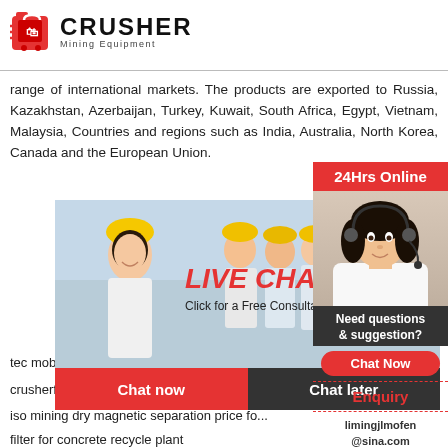[Figure (logo): Crusher Mining Equipment logo with red shopping bag icon and bold CRUSHER text]
range of international markets. The products are exported to Russia, Kazakhstan, Azerbaijan, Turkey, Kuwait, South Africa, Egypt, Vietnam, Malaysia, Countries and regions such as India, Australia, North Korea, Canada and the European Union.
[Figure (screenshot): Live chat popup overlay with workers in hard hats, LIVE CHAT text in red italic, 'Click for a Free Consultation' subtitle, Chat now (red) and Chat later (dark) buttons]
[Figure (screenshot): Right sidebar with 24Hrs Online header in red, photo of woman with headset, Need questions & suggestion? section, Chat Now button, Enquiry link, limingjlmofen@sina.com email]
tec mobile screen crusher parts man
crusherfor dolomite for sale united sta
iso mining dry magnetic separation price fo
filter for concrete recycle plant